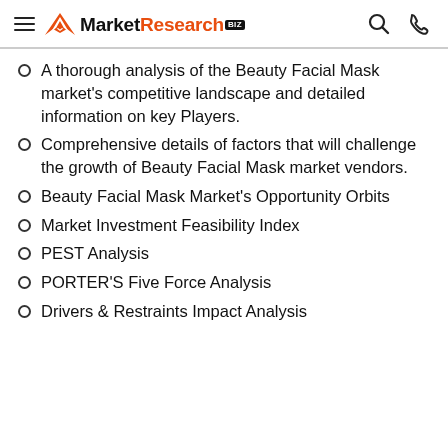MarketResearch.BIZ
A thorough analysis of the Beauty Facial Mask market's competitive landscape and detailed information on key Players.
Comprehensive details of factors that will challenge the growth of Beauty Facial Mask market vendors.
Beauty Facial Mask Market's Opportunity Orbits
Market Investment Feasibility Index
PEST Analysis
PORTER'S Five Force Analysis
Drivers & Restraints Impact Analysis